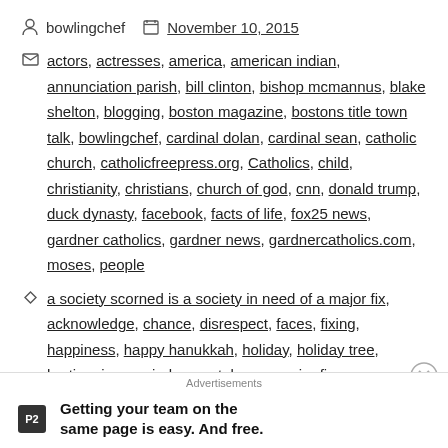bowlingchef   November 10, 2015
actors, actresses, america, american indian, annunciation parish, bill clinton, bishop mcmannus, blake shelton, blogging, boston magazine, bostons title town talk, bowlingchef, cardinal dolan, cardinal sean, catholic church, catholicfreepress.org, Catholics, child, christianity, christians, church of god, cnn, donald trump, duck dynasty, facebook, facts of life, fox25 news, gardner catholics, gardner news, gardnercatholics.com, moses, people
a society scorned is a society in need of a major fix, acknowledge, chance, disrespect, faces, fixing, happiness, happy hanukkah, holiday, holiday tree, hurting, issues, judgement, lesser, major fix, merry christmas, obstacles, peace, respect, scorned, solution, ten commandments, troubles, unique, walk
Advertisements
Getting your team on the same page is easy. And free.